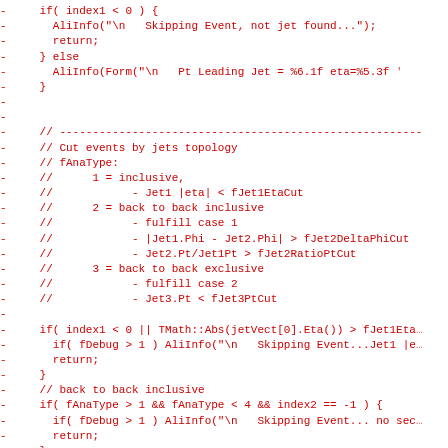Code diff showing removed lines (in red) from a C++ source file related to jet event analysis. Lines include conditional checks, AliInfo logging calls, comments explaining fAnaType topology cuts, and jet selection logic.